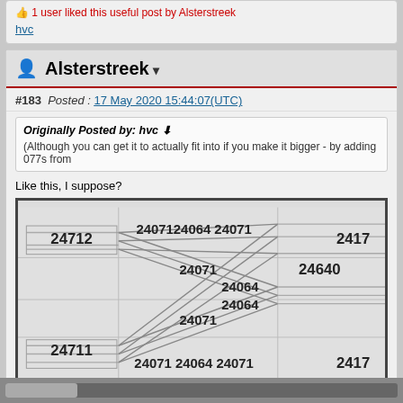1 user liked this useful post by Alsterstreek
hvc
Alsterstreek
#183  Posted :  17 May 2020 15:44:07(UTC)
Originally Posted by: hvc
(Although you can get it to actually fit into if you make it bigger - by adding 077s from
Like this, I suppose?
[Figure (engineering-diagram): Railway track layout diagram showing crossing tracks with labels: 24712, 24071, 24064, 24071, 24640, 24071, 24064, 24071, 24711, 24071, 24064, 24071, 2417]
Click to View Image
Greetz - Ak